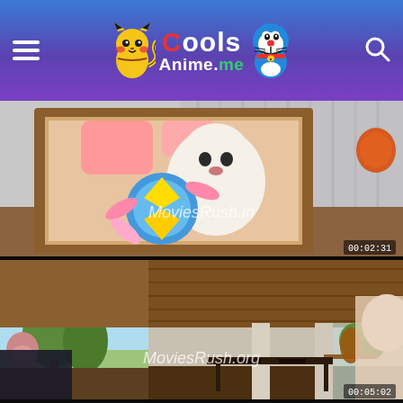[Figure (screenshot): Website header of CoolsAnime.me with gradient blue-purple background, hamburger menu icon on left, site logo in center (Pikachu and Doraemon mascots flanking 'Cools Anime.me' text), search icon on right]
[Figure (screenshot): Animated movie screenshot showing a framed photo of a fluffy white dog with ribbons/awards, watermark 'MoviesRush.in', timestamp 00:02:31]
[Figure (screenshot): Animated movie screenshot showing interior of a modern house with large windows and open floor plan, watermark 'MoviesRush.org', timestamp 00:05:02]
[Figure (screenshot): Partial animated movie screenshot at bottom, showing colorful scene cut off]